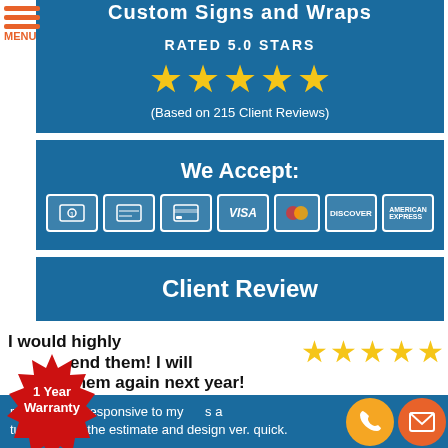Custom Signs and Wraps
RATED 5.0 STARS
[Figure (illustration): Five gold stars rating graphic]
(Based on 215 Client Reviews)
We Accept:
[Figure (illustration): Payment method icons: cash, check, credit card, Visa, Mastercard, Discover, American Express]
Client Review
I would highly recommend them! I will use them again next year!
[Figure (illustration): Five gold stars rating for client review]
[Figure (illustration): Red starburst badge with text: 1 Year Warranty]
r Space was responsive to my calls and turned around the estimate and design very quick.
[Figure (illustration): Orange phone contact icon and orange email contact icon]